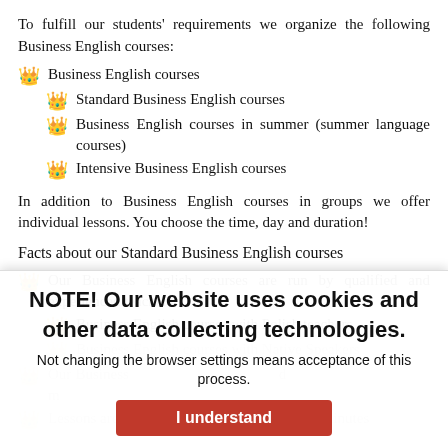To fulfill our students' requirements we organize the following Business English courses:
Business English courses
Standard Business English courses
Business English courses in summer (summer language courses)
Intensive Business English courses
In addition to Business English courses in groups we offer individual lessons. You choose the time, day and duration!
Facts about our Standard Business English courses
Our Business English courses are run by qualified and experienced teachers
Business English courses with Polish teachers
Business English courses with Native Speakers
Our Business English courses are ... and m...
Lessons are held tw... ...eting lasts 90 minutes
NOTE! Our website uses cookies and other data collecting technologies. Not changing the browser settings means acceptance of this process.